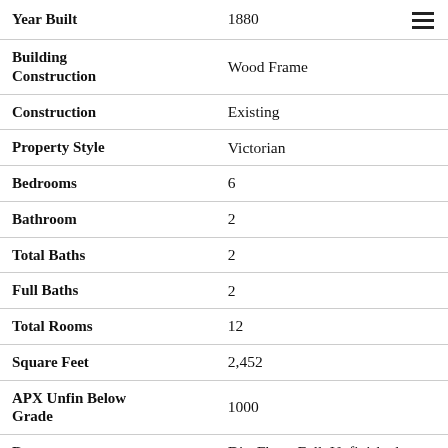| Field | Value |
| --- | --- |
| Year Built | 1880 |
| Building Construction | Wood Frame |
| Construction | Existing |
| Property Style | Victorian |
| Bedrooms | 6 |
| Bathroom | 2 |
| Total Baths | 2 |
| Full Baths | 2 |
| Total Rooms | 12 |
| Square Feet | 2,452 |
| APX Unfin Below Grade | 1000 |
| Basement | Dirt Floor, Full, Unfinished |